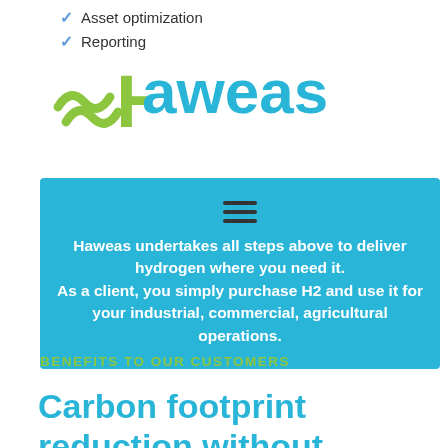✓ Asset optimization
✓ Reporting
[Figure (logo): Haweas company logo with tilde wave symbol in green and company name in blue]
Haweas undertakes all steps above to deliver hydrogen where you need it. As a client, you simply purchase H2 and use it for your industrial, commercial, agricultural operations.
BENEFITS TO OUR CUSTOMERS
Carbon footprint reduction without